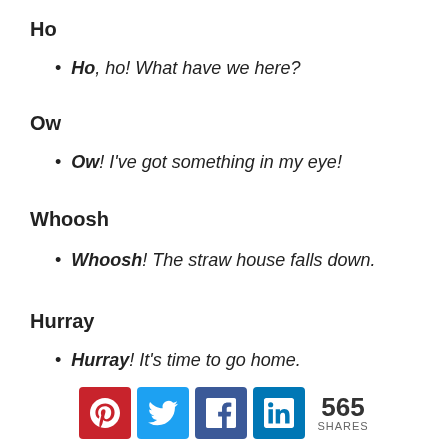Ho
Ho, ho! What have we here?
Ow
Ow! I've got something in my eye!
Whoosh
Whoosh! The straw house falls down.
Hurray
Hurray! It's time to go home.
565 SHARES